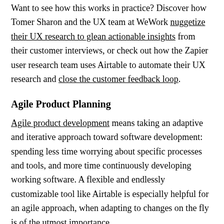Want to see how this works in practice? Discover how Tomer Sharon and the UX team at WeWork nuggetize their UX research to glean actionable insights from their customer interviews, or check out how the Zapier user research team uses Airtable to automate their UX research and close the customer feedback loop.
Agile Product Planning
Agile product development means taking an adaptive and iterative approach toward software development: spending less time worrying about specific processes and tools, and more time continuously developing working software. A flexible and endlessly customizable tool like Airtable is especially helpful for an agile approach, when adapting to changes on the fly is of the utmost importance.
[Figure (other): Empty outlined box at the bottom of the page]